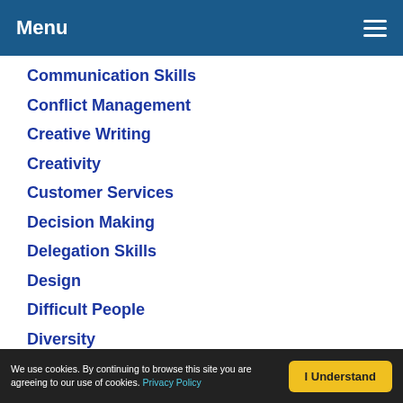Menu
Communication Skills
Conflict Management
Creative Writing
Creativity
Customer Services
Decision Making
Delegation Skills
Design
Difficult People
Diversity
Emotional Intelligence
Exercises for Kids
Games
Giving Feedback
Goal Setting
Icebreakers
We use cookies. By continuing to browse this site you are agreeing to our use of cookies. Privacy Policy | I Understand